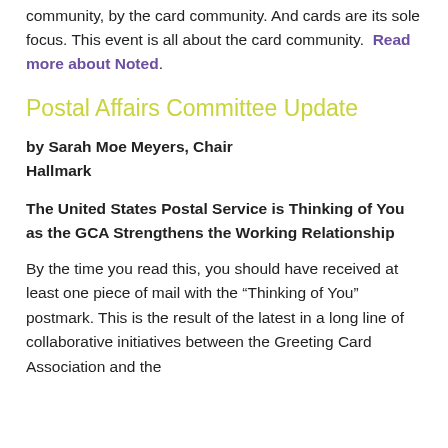community, by the card community. And cards are its sole focus. This event is all about the card community.  Read more about Noted.
Postal Affairs Committee Update
by Sarah Moe Meyers, Chair
Hallmark
The United States Postal Service is Thinking of You as the GCA Strengthens the Working Relationship
By the time you read this, you should have received at least one piece of mail with the “Thinking of You” postmark. This is the result of the latest in a long line of collaborative initiatives between the Greeting Card Association and the